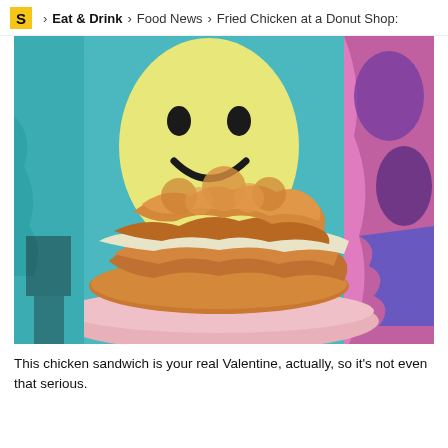S > Eat & Drink > Food News > Fried Chicken at a Donut Shop:
[Figure (photo): A fried chicken sandwich on a donut bun, loaded with coleslaw and fried chicken pieces, served on a pink plate. Background is a colorful graffiti mural featuring a smiley face on teal, with pink and purple designs.]
This chicken sandwich is your real Valentine, actually, so it's not even that serious.